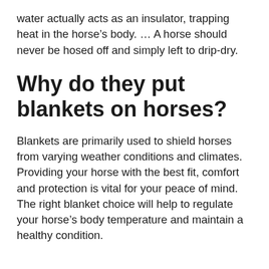water actually acts as an insulator, trapping heat in the horse's body. … A horse should never be hosed off and simply left to drip-dry.
Why do they put blankets on horses?
Blankets are primarily used to shield horses from varying weather conditions and climates. Providing your horse with the best fit, comfort and protection is vital for your peace of mind. The right blanket choice will help to regulate your horse's body temperature and maintain a healthy condition.